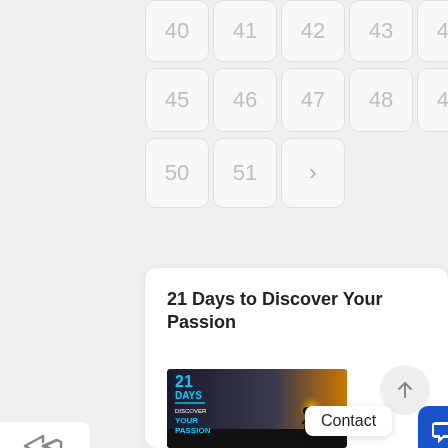40
41
42
43
44
45
46
47
48
49
50
51
>
21 Days to Discover Your Passion
[Figure (photo): Book cover for '21 Days to Discover Your Passion' with text overlaid on a sunset silhouette background]
Contact
[Figure (other): Blue chat/message button icon]
[Figure (other): Share forward arrow icon in white box]
[Figure (other): Scroll-to-top upward arrow button]